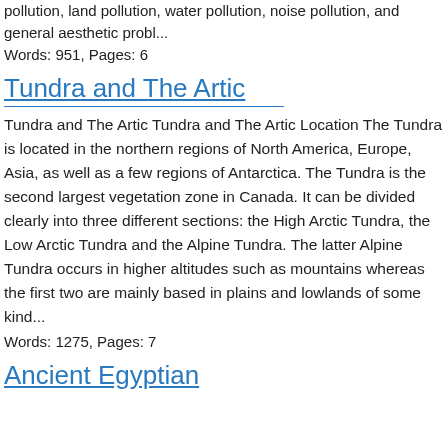pollution, land pollution, water pollution, noise pollution, and general aesthetic probl...
Words: 951, Pages: 6
Tundra and The Artic
Tundra and The Artic Tundra and The Artic Location The Tundra is located in the northern regions of North America, Europe, Asia, as well as a few regions of Antarctica. The Tundra is the second largest vegetation zone in Canada. It can be divided clearly into three different sections: the High Arctic Tundra, the Low Arctic Tundra and the Alpine Tundra. The latter Alpine Tundra occurs in higher altitudes such as mountains whereas the first two are mainly based in plains and lowlands of some kind...
Words: 1275, Pages: 7
Ancient Egyptian